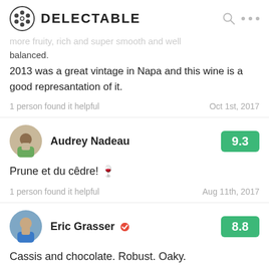DELECTABLE
more fruity, rich and super smooth and well balanced.
2013 was a great vintage in Napa and this wine is a good represantation of it.
1 person found it helpful
Oct 1st, 2017
Audrey Nadeau
9.3
Prune et du cêdre! 🍷
1 person found it helpful
Aug 11th, 2017
Eric Grasser
8.8
Cassis and chocolate. Robust. Oaky.
Feb 21st, 2016